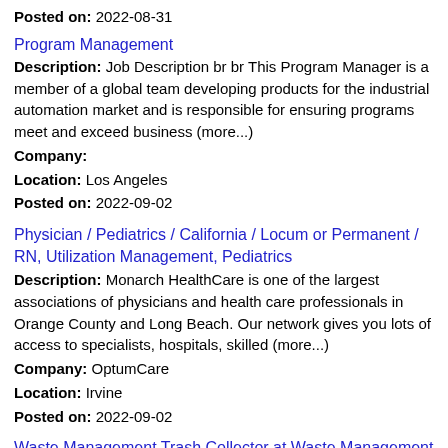Posted on: 2022-08-31
Program Management
Description: Job Description br br This Program Manager is a member of a global team developing products for the industrial automation market and is responsible for ensuring programs meet and exceed business (more...)
Company:
Location: Los Angeles
Posted on: 2022-09-02
Physician / Pediatrics / California / Locum or Permanent / RN, Utilization Management, Pediatrics
Description: Monarch HealthCare is one of the largest associations of physicians and health care professionals in Orange County and Long Beach. Our network gives you lots of access to specialists, hospitals, skilled (more...)
Company: OptumCare
Location: Irvine
Posted on: 2022-09-02
Waste Management Trash Collector at Waste Management Just Posted Today
Description: Waste Management Trash Collector-Waste Management br Waste Management
Company: Waste Management
Location: Yorba Linda